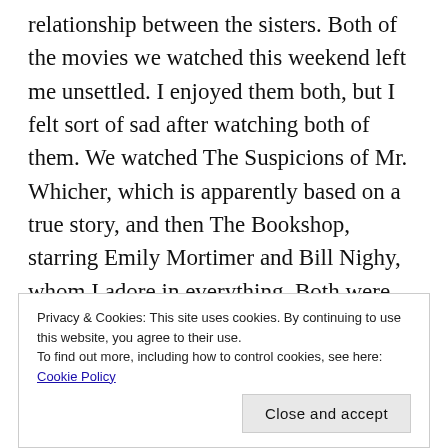relationship between the sisters. Both of the movies we watched this weekend left me unsettled. I enjoyed them both, but I felt sort of sad after watching both of them. We watched The Suspicions of Mr. Whicher, which is apparently based on a true story, and then The Bookshop, starring Emily Mortimer and Bill Nighy, whom I adore in everything. Both were excellent, but definitely left you with lots to think about. These movies are both on Amazon Video.

And that about sums it up for me! Stay safe everyone
Privacy & Cookies: This site uses cookies. By continuing to use this website, you agree to their use.
To find out more, including how to control cookies, see here: Cookie Policy
Close and accept